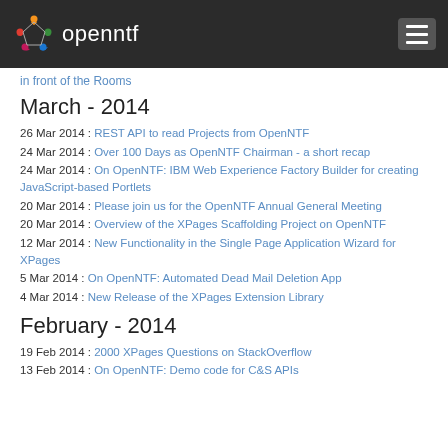openntf
in front of the Rooms
March - 2014
26 Mar 2014 : REST API to read Projects from OpenNTF
24 Mar 2014 : Over 100 Days as OpenNTF Chairman - a short recap
24 Mar 2014 : On OpenNTF: IBM Web Experience Factory Builder for creating JavaScript-based Portlets
20 Mar 2014 : Please join us for the OpenNTF Annual General Meeting
20 Mar 2014 : Overview of the XPages Scaffolding Project on OpenNTF
12 Mar 2014 : New Functionality in the Single Page Application Wizard for XPages
5 Mar 2014 : On OpenNTF: Automated Dead Mail Deletion App
4 Mar 2014 : New Release of the XPages Extension Library
February - 2014
19 Feb 2014 : 2000 XPages Questions on StackOverflow
13 Feb 2014 : On OpenNTF: Demo code for C&amp;S APIs